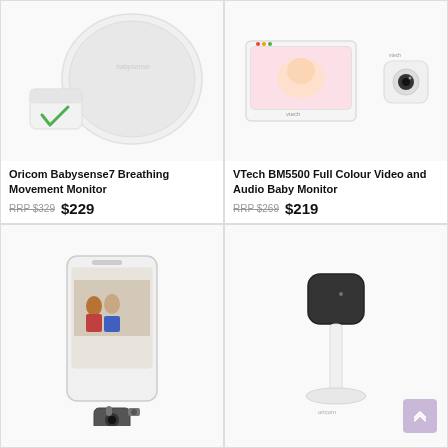[Figure (photo): Oricom Babysense7 breathing movement monitor product photo — white round sensor pad and small white transmitter unit]
[Figure (photo): VTech BM5500 full colour video baby monitor showing screen with baby image and separate pan-tilt camera unit]
Oricom Babysense7 Breathing Movement Monitor
RRP $329  $229
VTech BM5500 Full Colour Video and Audio Baby Monitor
RRP $269  $219
[Figure (photo): Smartphone displaying baby monitor app with children playing, and small camera unit below it]
[Figure (photo): Oricom smart baby camera on swivel stand — compact black camera on white pole base]